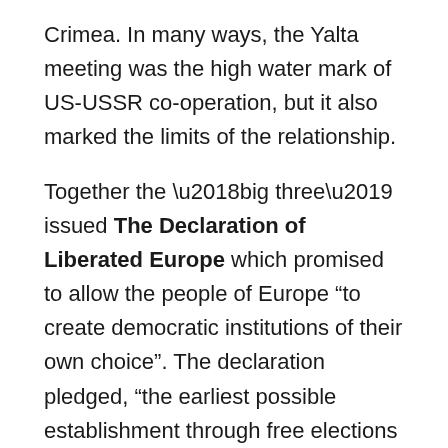Crimea. In many ways, the Yalta meeting was the high water mark of US-USSR co-operation, but it also marked the limits of the relationship.
Together the ‘big three’ issued The Declaration of Liberated Europe which promised to allow the people of Europe “to create democratic institutions of their own choice”. The declaration pledged, “the earliest possible establishment through free elections governments responsive to the will of the people.” This reflected the statements of the Atlantic Charter agreed between American and Great Britain in August 1941, which promised “the right of all people to choose the form of government under which they will